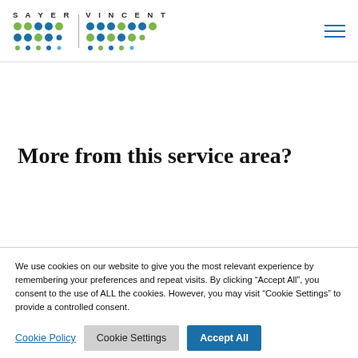SAYER VINCENT
More from this service area?
We use cookies on our website to give you the most relevant experience by remembering your preferences and repeat visits. By clicking “Accept All”, you consent to the use of ALL the cookies. However, you may visit “Cookie Settings” to provide a controlled consent.